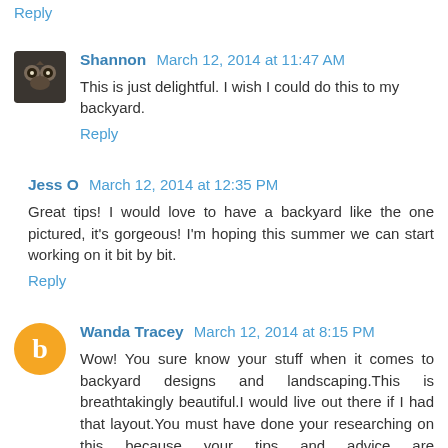Reply
Shannon  March 12, 2014 at 11:47 AM
This is just delightful. I wish I could do this to my backyard.
Reply
Jess O  March 12, 2014 at 12:35 PM
Great tips! I would love to have a backyard like the one pictured, it's gorgeous! I'm hoping this summer we can start working on it bit by bit.
Reply
Wanda Tracey  March 12, 2014 at 8:15 PM
Wow! You sure know your stuff when it comes to backyard designs and landscaping.This is breathtakingly beautiful.I would live out there if I had that layout.You must have done your researching on this because your tips and advice are wonderful.Thanks.I really enjoyed this a lot.